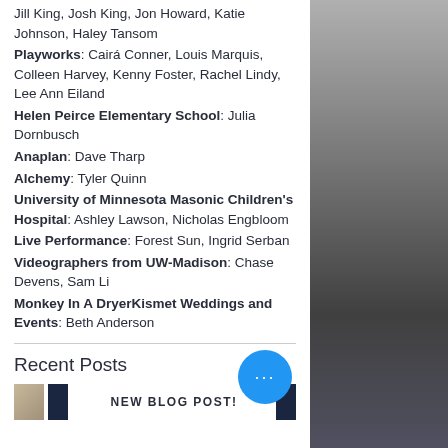Jill King, Josh King, Jon Howard, Katie Johnson, Haley Tansom
Playworks: Cairá Conner, Louis Marquis, Colleen Harvey, Kenny Foster, Rachel Lindy, Lee Ann Eiland
Helen Peirce Elementary School: Julia Dornbusch
Anaplan: Dave Tharp
Alchemy: Tyler Quinn
University of Minnesota Masonic Children's Hospital: Ashley Lawson, Nicholas Engbloom
Live Performance: Forest Sun, Ingrid Serban
Videographers from UW-Madison: Chase Devens, Sam Li
Monkey In A DryerKismet Weddings and Events: Beth Anderson
Recent Posts
NEW BLOG POST!
[Figure (photo): People standing in what appears to be a large indoor space, photographed from the side; dark clothing, light walls and floor.]